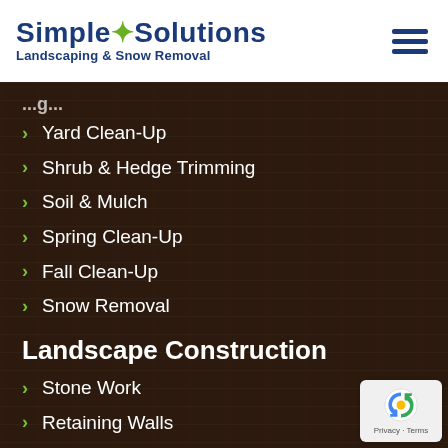Simple Solutions Landscaping & Snow Removal
Yard Clean-Up
Shrub & Hedge Trimming
Soil & Mulch
Spring Clean-Up
Fall Clean-Up
Snow Removal
Landscape Construction
Stone Work
Retaining Walls
Sod Installation & Replacement